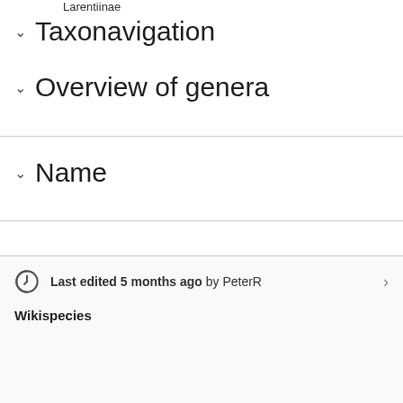Larentiinae
Taxonavigation
Overview of genera
Name
References
Last edited 5 months ago by PeterR
Wikispecies